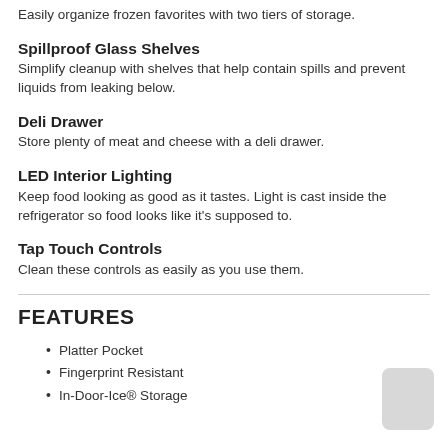Easily organize frozen favorites with two tiers of storage.
Spillproof Glass Shelves
Simplify cleanup with shelves that help contain spills and prevent liquids from leaking below.
Deli Drawer
Store plenty of meat and cheese with a deli drawer.
LED Interior Lighting
Keep food looking as good as it tastes. Light is cast inside the refrigerator so food looks like it's supposed to.
Tap Touch Controls
Clean these controls as easily as you use them.
FEATURES
Platter Pocket
Fingerprint Resistant
In-Door-Ice® Storage